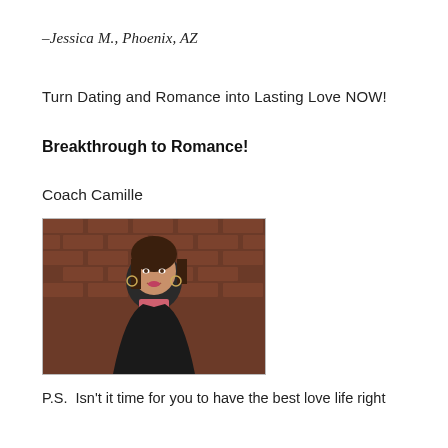–Jessica M., Phoenix, AZ
Turn Dating and Romance into Lasting Love NOW!
Breakthrough to Romance!
Coach Camille
[Figure (photo): Portrait photo of Coach Camille, a woman with dark brown hair, wearing a black jacket and pink top, with large hoop earrings, smiling against a brick wall background.]
P.S.  Isn't it time for you to have the best love life right now? No, it really never gets to your life the...